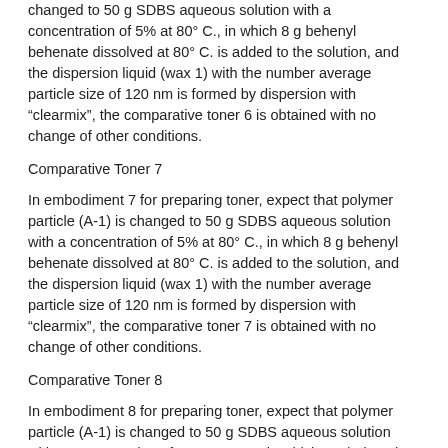changed to 50 g SDBS aqueous solution with a concentration of 5% at 80° C., in which 8 g behenyl behenate dissolved at 80° C. is added to the solution, and the dispersion liquid (wax 1) with the number average particle size of 120 nm is formed by dispersion with "clearmix", the comparative toner 6 is obtained with no change of other conditions.
Comparative Toner 7
In embodiment 7 for preparing toner, expect that polymer particle (A-1) is changed to 50 g SDBS aqueous solution with a concentration of 5% at 80° C., in which 8 g behenyl behenate dissolved at 80° C. is added to the solution, and the dispersion liquid (wax 1) with the number average particle size of 120 nm is formed by dispersion with "clearmix", the comparative toner 7 is obtained with no change of other conditions.
Comparative Toner 8
In embodiment 8 for preparing toner, expect that polymer particle (A-1) is changed to 50 g SDBS aqueous solution with a concentration of 5% at 80° C., in which 8 g behenyl behenate dissolved at 80° C. is added to the solution, and the dispersion liquid (wax 1) with the number average particle size of 120 nm is formed by dispersion with "clearmix", the comparative toner 8 is obtained with no change of other conditions.
Evaluation